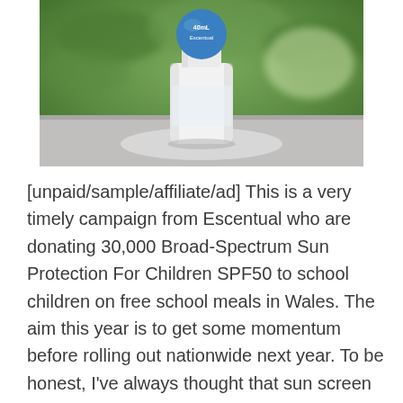[Figure (photo): A white bottle of Escentual Broad-Spectrum Sun Protection For Children SPF50 with a blue circular cap/label, photographed on a light surface with green foliage in the background.]
[unpaid/sample/affiliate/ad] This is a very timely campaign from Escentual who are donating 30,000 Broad-Spectrum Sun Protection For Children SPF50 to school children on free school meals in Wales. The aim this year is to get some momentum before rolling out nationwide next year. To be honest, I've always thought that sun screen is something that should be available either free or subsidised for those who really need it – it can be expensive to